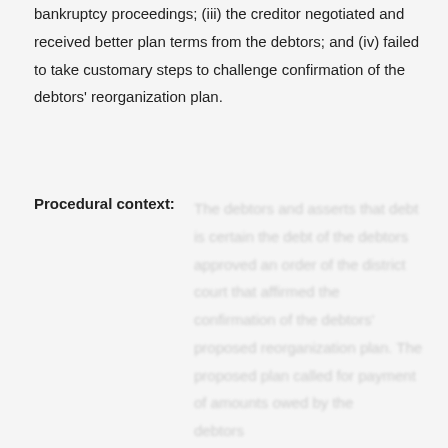argument, that the creditor was a party to the bankruptcy proceedings; (iii) the creditor negotiated and received better plan terms from the debtors; and (iv) failed to take customary steps to challenge confirmation of the debtors' reorganization plan.
Procedural context: [blurred text content]